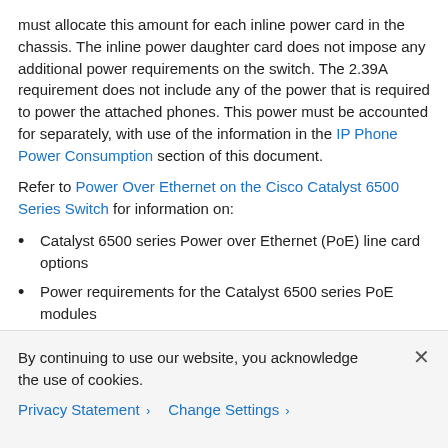must allocate this amount for each inline power card in the chassis. The inline power daughter card does not impose any additional power requirements on the switch. The 2.39A requirement does not include any of the power that is required to power the attached phones. This power must be accounted for separately, with use of the information in the IP Phone Power Consumption section of this document.
Refer to Power Over Ethernet on the Cisco Catalyst 6500 Series Switch for information on:
Catalyst 6500 series Power over Ethernet (PoE) line card options
Power requirements for the Catalyst 6500 series PoE modules
The maximum possible densities of IP phones for different Catalyst 6500 chassis
By continuing to use our website, you acknowledge the use of cookies.
Privacy Statement > Change Settings >